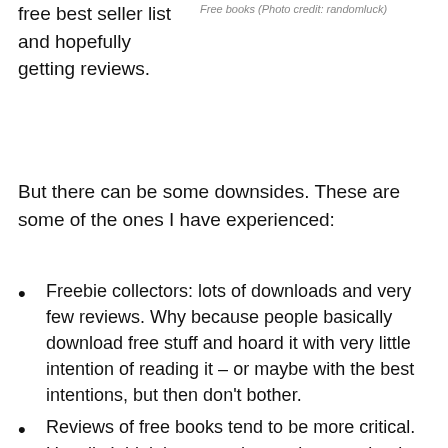free best seller list and hopefully getting reviews.
Free books (Photo credit: randomluck)
But there can be some downsides. These are some of the ones I have experienced:
Freebie collectors: lots of downloads and very few reviews. Why because people basically download free stuff and hoard it with very little intention of reading it – or maybe with the best intentions, but then don't bother.
Reviews of free books tend to be more critical. Usually I think because the reader got a book that wasn't really what they were looking for – they misunderstand what the title is about because they haven't considered their purchase very much. For instance one of my publications – Alt Hist magazine states clearly in the blurb that it contains all sorts of historical fiction, but got criticized recently by a reviewer because it wasn't just alternate history. I guess they just